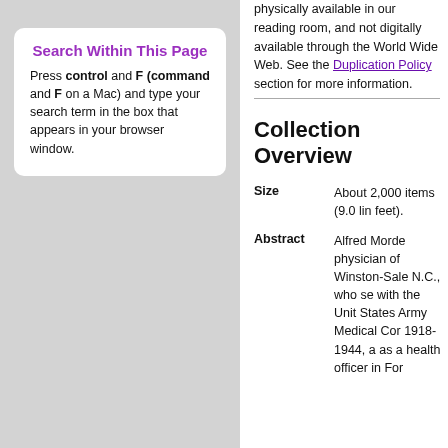Search Within This Page
Press control and F (command and F on a Mac) and type your search term in the box that appears in your browser window.
physically available in our reading room, and not digitally available through the World Wide Web. See the Duplication Policy section for more information.
Collection Overview
| Field | Value |
| --- | --- |
| Size | About 2,000 items (9.0 linear feet). |
| Abstract | Alfred Morde physician of Winston-Salem N.C., who served with the United States Army Medical Corps 1918-1944, and as a health officer in Fort Mill... |